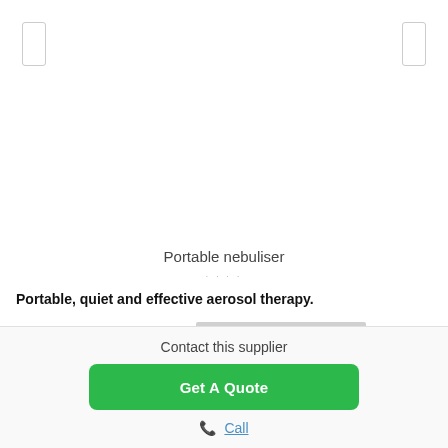[Figure (illustration): Product image area for portable nebuliser with left and right navigation arrows on either side]
Portable nebuliser
· · · ·
Portable, quiet and effective aerosol therapy.
Contact this supplier
Get A Quote
📞 Call